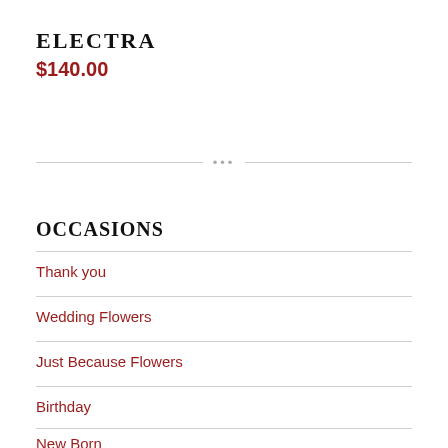ELECTRA
$140.00
OCCASIONS
Thank you
Wedding Flowers
Just Because Flowers
Birthday
New Born